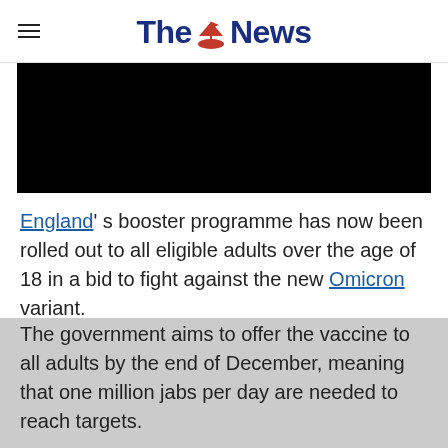The News
[Figure (photo): Black redacted/placeholder image banner]
England's booster programme has now been rolled out to all eligible adults over the age of 18 in a bid to fight against the new Omicron variant.
The government aims to offer the vaccine to all adults by the end of December, meaning that one million jabs per day are needed to reach targets.